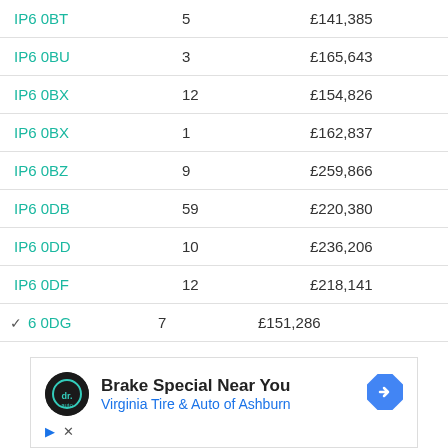| Postcode | Count | Price |
| --- | --- | --- |
| IP6 0BT | 5 | £141,385 |
| IP6 0BU | 3 | £165,643 |
| IP6 0BX | 12 | £154,826 |
| IP6 0BX | 1 | £162,837 |
| IP6 0BZ | 9 | £259,866 |
| IP6 0DB | 59 | £220,380 |
| IP6 0DD | 10 | £236,206 |
| IP6 0DF | 12 | £218,141 |
| IP6 0DG | 7 | £151,286 |
[Figure (other): Advertisement banner for Brake Special Near You - Virginia Tire & Auto of Ashburn with logo and navigation arrow icon]